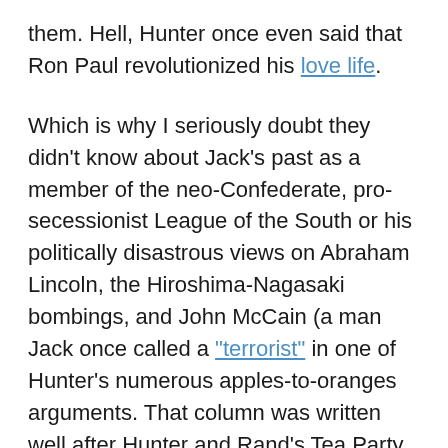them. Hell, Hunter once even said that Ron Paul revolutionized his love life.
Which is why I seriously doubt they didn't know about Jack's past as a member of the neo-Confederate, pro-secessionist League of the South or his politically disastrous views on Abraham Lincoln, the Hiroshima-Nagasaki bombings, and John McCain (a man Jack once called a "terrorist" in one of Hunter's numerous apples-to-oranges arguments. That column was written well after Hunter and Rand's Tea Party book was released).